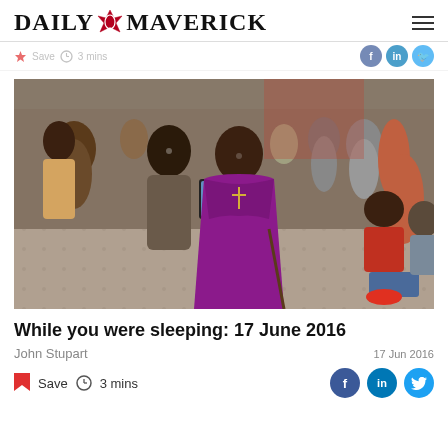DAILY MAVERICK
[Figure (photo): Archbishop Desmond Tutu in purple bishop robes walking with a cane, taking a selfie with a man in a grey jacket, surrounded by a crowd of smiling people in an indoor venue.]
While you were sleeping: 17 June 2016
John Stupart
17 Jun 2016
Save  3 mins